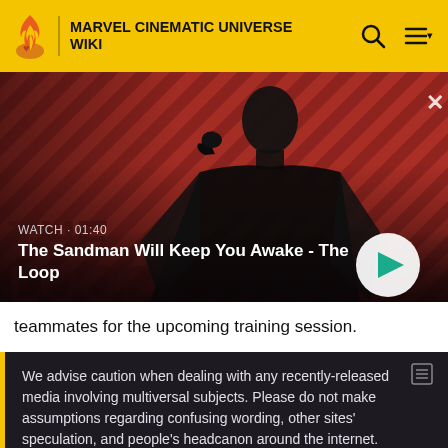MARVEL CINEMATIC UNIVERSE WIKI
[Figure (screenshot): Video thumbnail showing a dark-clad figure with a crow on shoulder against red diagonal striped background. Title text reads 'The Sandman Will Keep You Awake - The Loop' with WATCH · 01:40 label and a play button.]
teammates for the upcoming training session.
We advise caution when dealing with any recently-released media involving multiversal subjects. Please do not make assumptions regarding confusing wording, other sites' speculation, and people's headcanon around the internet.